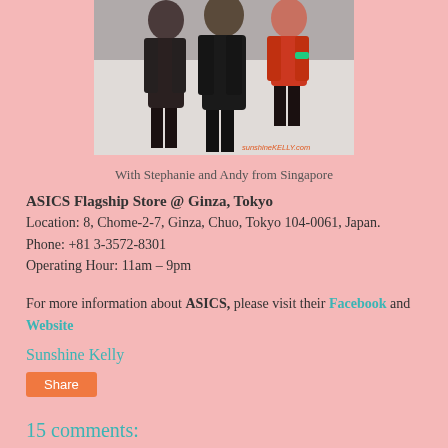[Figure (photo): Three people standing together in a store, one wearing a red top, one in dark clothing. Watermark reads sunshineKELLY.com]
With Stephanie and Andy from Singapore
ASICS Flagship Store @ Ginza, Tokyo
Location: 8, Chome-2-7, Ginza, Chuo, Tokyo 104-0061, Japan.
Phone: +81 3-3572-8301
Operating Hour: 11am – 9pm
For more information about ASICS, please visit their Facebook and Website
Sunshine Kelly
Share
15 comments: